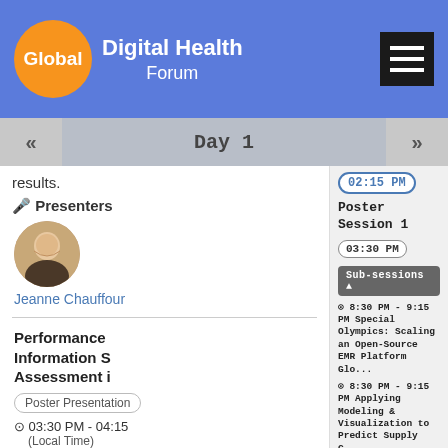Global Digital Health Forum
results.
Presenters
Jeanne Chauffour
Performance Information S... Assessment i...
Poster Presentation
03:30 PM - 04:15 (Local Time)
Day 1
02:15 PM
Poster Session 1
03:30 PM
Sub-sessions
8:30 PM - 9:15 PM Special Olympics: Scaling an Open-Source EMR Platform Glo...
8:30 PM - 9:15 PM Applying Modeling & Visualization to Predict Supply C...
8:30 PM - 9:15 PM Data Driven health system to take action: Guatemala Indic...
8:30 PM - 9:15 PM Digitizing the Integrated Management of Childhood